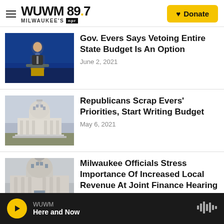WUWM 89.7 MILWAUKEE'S NPR — Donate
Gov. Evers Says Vetoing Entire State Budget Is An Option — June 2, 2021
Republicans Scrap Evers' Priorities, Start Writing Budget — May 6, 2021
Milwaukee Officials Stress Importance Of Increased Local Revenue At Joint Finance Hearing
WUWM — Here and Now